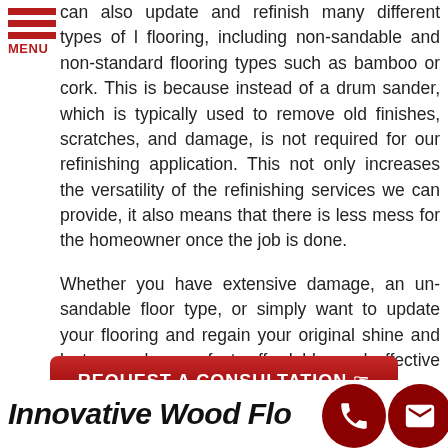[Figure (logo): Red hamburger menu icon with three horizontal red bars and 'MENU' label below in red]
can also update and refinish many different types of l flooring, including non-sandable and non-standard flooring types such as bamboo or cork. This is because instead of a drum sander, which is typically used to remove old finishes, scratches, and damage, is not required for our refinishing application. This not only increases the versatility of the refinishing services we can provide, it also means that there is less mess for the homeowner once the job is done.
Whether you have extensive damage, an un-sandable floor type, or simply want to update your flooring and regain your original shine and luster, we have a fast, affordable, and effective wood flooring refinishing solution for your specific needs.
[Figure (other): Dark red rounded button with white bold text 'REQUEST A CONSULTATION' and a hand/cursor icon]
Innovative Wood Flo